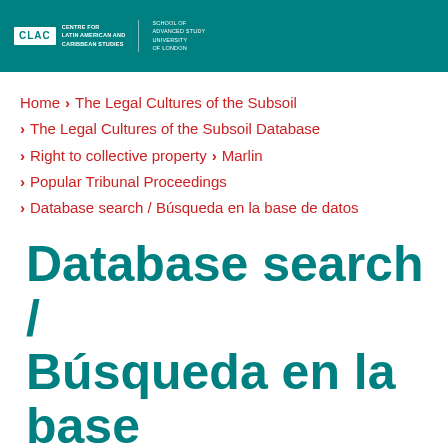[Figure (logo): CLAC Centre for Latin American and Caribbean Studies logo with School of Advanced Study, University of London text, white on teal header bar]
Home > The Legal Cultures of the Subsoil
> The Legal Cultures of the Subsoil Database
> Right to collective property > Marlin
> Popular Tribunal Proceedings
> Database search / Búsqueda en la base de datos
Database search / Búsqueda en la base de datos